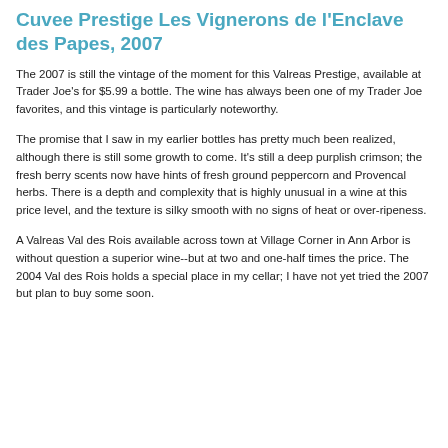Cuvee Prestige Les Vignerons de l'Enclave des Papes, 2007
The 2007 is still the vintage of the moment for this Valreas Prestige, available at Trader Joe's for $5.99 a bottle. The wine has always been one of my Trader Joe favorites, and this vintage is particularly noteworthy.
The promise that I saw in my earlier bottles has pretty much been realized, although there is still some growth to come. It's still a deep purplish crimson; the fresh berry scents now have hints of fresh ground peppercorn and Provencal herbs. There is a depth and complexity that is highly unusual in a wine at this price level, and the texture is silky smooth with no signs of heat or over-ripeness.
A Valreas Val des Rois available across town at Village Corner in Ann Arbor is without question a superior wine--but at two and one-half times the price. The 2004 Val des Rois holds a special place in my cellar; I have not yet tried the 2007 but plan to buy some soon.